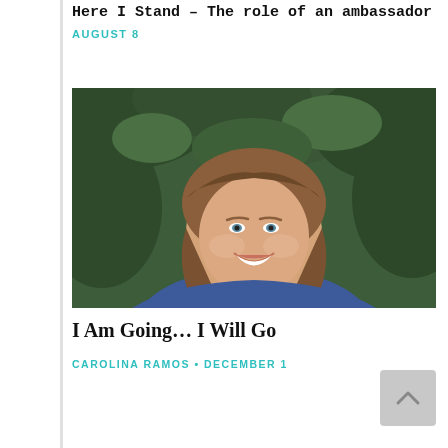Here I Stand – The role of an ambassador
AUGUST 8
[Figure (photo): Portrait photo of a smiling young woman with long brown hair, wearing a blue top, with green foliage in the background]
I Am Going…I Will Go
CAROLINA RAMOS • DECEMBER 1